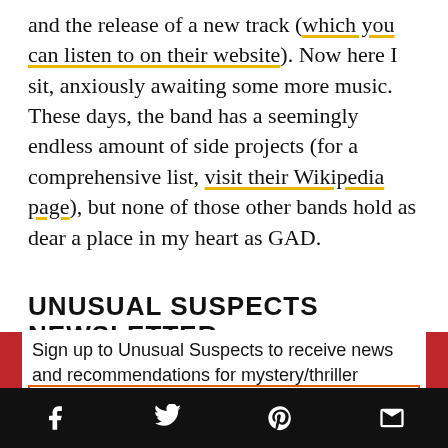and the release of a new track (which you can listen to on their website). Now here I sit, anxiously awaiting some more music. These days, the band has a seemingly endless amount of side projects (for a comprehensive list, visit their Wikipedia page), but none of those other bands hold as dear a place in my heart as GAD.
UNUSUAL SUSPECTS NEWSLETTER
Sign up to Unusual Suspects to receive news and recommendations for mystery/thriller readers.
Email
[Figure (other): Social media share bar with Facebook, Twitter, Pinterest, and email icons on black background]